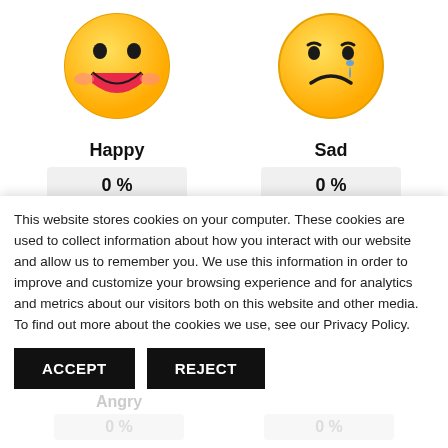[Figure (illustration): Happy emoji face (yellow smiley with big smile and rosy cheeks)]
Happy
0 %
[Figure (illustration): Sad emoji face (yellow face with tear drop)]
Sad
0 %
[Figure (illustration): Excited emoji face (yellow face with heart eyes and open mouth)]
Excited
0 %
[Figure (illustration): Sleepy emoji face (yellow face with closed eyes, open mouth, and ZZ letters)]
Sleepy
0 %
This website stores cookies on your computer. These cookies are used to collect information about how you interact with our website and allow us to remember you. We use this information in order to improve and customize your browsing experience and for analytics and metrics about our visitors both on this website and other media. To find out more about the cookies we use, see our Privacy Policy.
ACCEPT
REJECT
Angry
0 %